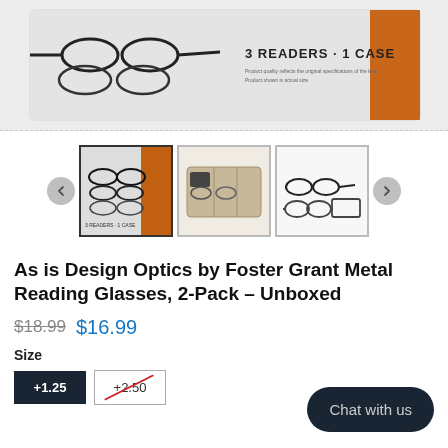[Figure (photo): Main product image showing reading glasses with box partially visible, box reads 3 READERS 1 CASE, photographed against light background]
[Figure (photo): Thumbnail 1: Product box with multiple reading glasses fanned out, showing 3 READERS 1 CASE packaging]
[Figure (photo): Thumbnail 2: Open fabric/canvas pouch case with glasses inside]
[Figure (photo): Thumbnail 3: Two pairs of metal reading glasses shown side by side]
As is Design Optics by Foster Grant Metal Reading Glasses, 2-Pack – Unboxed
$18.99  $16.99
Size
+1.25
+2.50